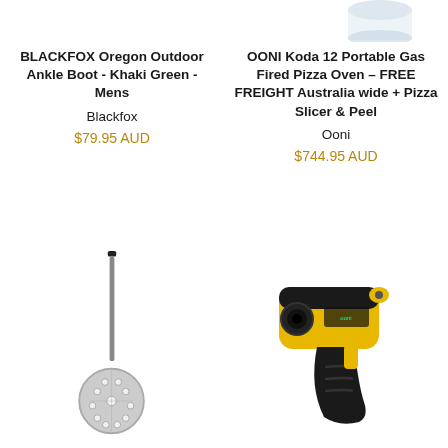[Figure (photo): Partial white cylinder/container visible at top right corner]
BLACKFOX Oregon Outdoor Ankle Boot - Khaki Green - Mens
Blackfox
$79.95 AUD
OONI Koda 12 Portable Gas Fired Pizza Oven - FREE FREIGHT Australia wide + Pizza Slicer & Peel
Ooni
$744.95 AUD
[Figure (illustration): Pizza peel / perforated round spatula with long handle]
[Figure (photo): Yellow and black infrared thermometer gun]